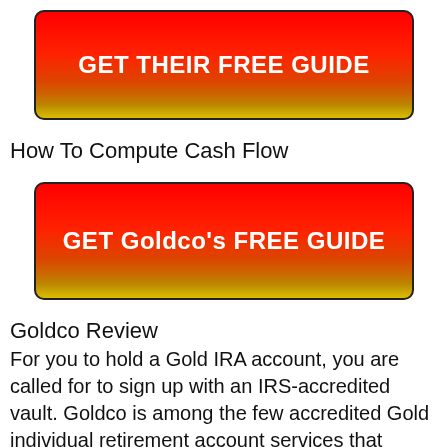[Figure (other): Red gradient button with white bold text: GET THEIR FREE GUIDE]
How To Compute Cash Flow
[Figure (other): Red gradient button with white bold text: GET Goldco's FREE GUIDE]
Goldco Review
For you to hold a Gold IRA account, you are called for to sign up with an IRS-accredited vault. Goldco is among the few accredited Gold individual retirement account services that manage the getting as well as storage of precious metals.